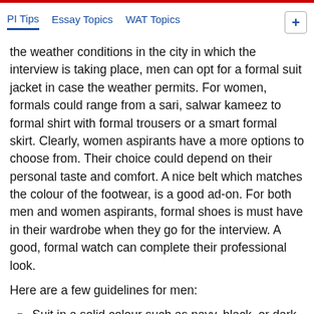PI Tips   Essay Topics   WAT Topics
the weather conditions in the city in which the interview is taking place, men can opt for a formal suit jacket in case the weather permits. For women, formals could range from a sari, salwar kameez to formal shirt with formal trousers or a smart formal skirt. Clearly, women aspirants have a more options to choose from. Their choice could depend on their personal taste and comfort. A nice belt which matches the colour of the footwear, is a good ad-on. For both men and women aspirants, formal shoes is must have in their wardrobe when they go for the interview. A good, formal watch can complete their professional look.
Here are a few guidelines for men:
Suit in a solid colour such as navy, black, or dark gray